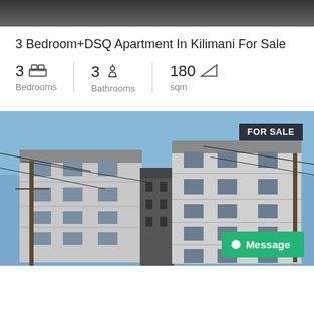[Figure (photo): Top strip photo of building exterior, partially visible]
3 Bedroom+DSQ Apartment In Kilimani For Sale
3 Bedrooms | 3 Bathrooms | 180 sqm
[Figure (photo): Exterior photo of a multi-storey apartment building in Kilimani with a FOR SALE badge in the top right corner and a Message button in the bottom right]